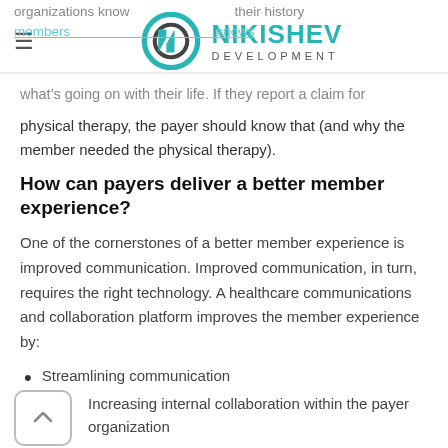NIKISHEV DEVELOPMENT
organizations know their history members knows what's going on with their life. If they report a claim for physical therapy, the payer should know that (and why the member needed the physical therapy).
How can payers deliver a better member experience?
One of the cornerstones of a better member experience is improved communication. Improved communication, in turn, requires the right technology. A healthcare communications and collaboration platform improves the member experience by:
Streamlining communication
Increasing internal collaboration within the payer organization